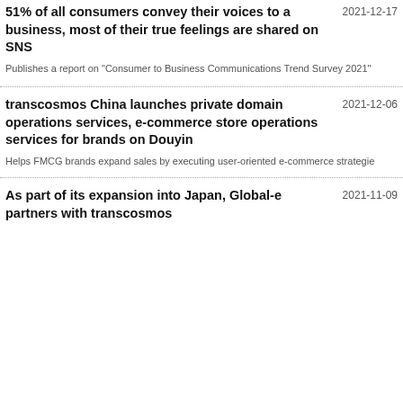51% of all consumers convey their voices to a business, most of their true feelings are shared on SNS
2021-12-17
Publishes a report on "Consumer to Business Communications Trend Survey 2021"
transcosmos China launches private domain operations services, e-commerce store operations services for brands on Douyin
2021-12-06
Helps FMCG brands expand sales by executing user-oriented e-commerce strategie
As part of its expansion into Japan, Global-e partners with transcosmos
2021-11-09